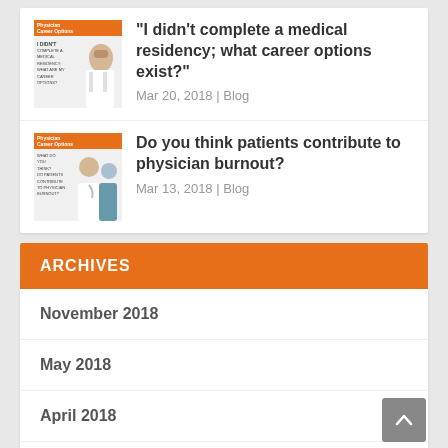[Figure (photo): Thumbnail image with orange header bar for blog post about medical residency career options]
“I didn’t complete a medical residency; what career options exist?”
Mar 20, 2018 | Blog
[Figure (photo): Thumbnail image with orange header bar for blog post about physician burnout]
Do you think patients contribute to physician burnout?
Mar 13, 2018 | Blog
ARCHIVES
November 2018
May 2018
April 2018
March 2018